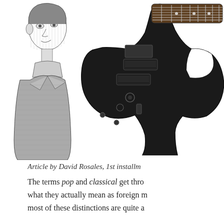[Figure (illustration): Black and white engraving-style illustration of a classical figure (man in historical dress, facing left), cropped to show head and upper torso, positioned at top-left of page.]
[Figure (photo): Photo of a black electric guitar (body and part of neck/fretboard visible), positioned at top-right of page on white background.]
Article by David Rosales, 1st installm...
The terms pop and classical get thro... what they actually mean as foreign m... most of these distinctions are quite a...